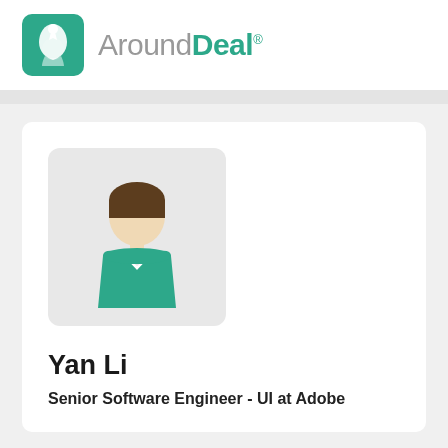[Figure (logo): AroundDeal logo with teal rocket icon and text 'AroundDeal' with registered trademark symbol]
[Figure (illustration): Generic user avatar silhouette with brown hair and teal shirt on light gray rounded square background]
Yan Li
Senior Software Engineer - UI at Adobe